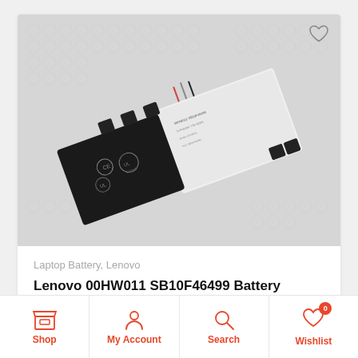[Figure (photo): Photo of a Lenovo laptop battery (black and white rectangular battery pack) on a grey/white bubble wrap background]
Laptop Battery, Lenovo
Lenovo 00HW011 SB10F46499 Battery
$83.66
Add To Cart
Shop  My Account  Search  Wishlist